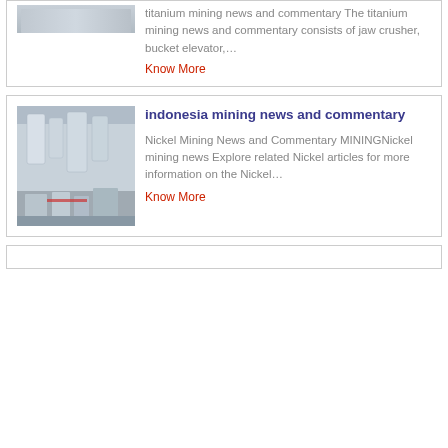titanium mining news and commentary The titanium mining news and commentary consists of jaw crusher, bucket elevator,…
Know More
indonesia mining news and commentary
Nickel Mining News and Commentary MININGNickel mining news Explore related Nickel articles for more information on the Nickel…
Know More